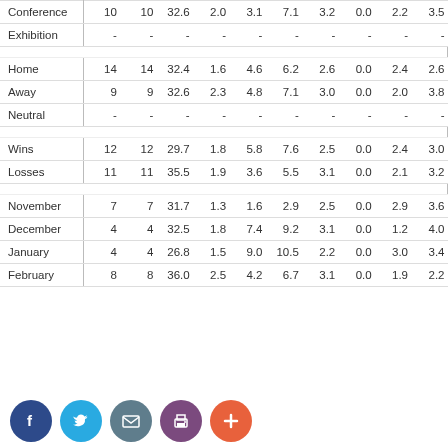|  | G | GS | MIN | FGM | FGA | REB | AST | BLK | STL | TO |
| --- | --- | --- | --- | --- | --- | --- | --- | --- | --- | --- |
| Conference | 10 | 10 | 32.6 | 2.0 | 3.1 | 7.1 | 3.2 | 0.0 | 2.2 | 3.5 |
| Exhibition | - | - | - | - | - | - | - | - | - | - |
| Home | 14 | 14 | 32.4 | 1.6 | 4.6 | 6.2 | 2.6 | 0.0 | 2.4 | 2.6 |
| Away | 9 | 9 | 32.6 | 2.3 | 4.8 | 7.1 | 3.0 | 0.0 | 2.0 | 3.8 |
| Neutral | - | - | - | - | - | - | - | - | - | - |
| Wins | 12 | 12 | 29.7 | 1.8 | 5.8 | 7.6 | 2.5 | 0.0 | 2.4 | 3.0 |
| Losses | 11 | 11 | 35.5 | 1.9 | 3.6 | 5.5 | 3.1 | 0.0 | 2.1 | 3.2 |
| November | 7 | 7 | 31.7 | 1.3 | 1.6 | 2.9 | 2.5 | 0.0 | 2.9 | 3.6 |
| December | 4 | 4 | 32.5 | 1.8 | 7.4 | 9.2 | 3.1 | 0.0 | 1.2 | 4.0 |
| January | 4 | 4 | 26.8 | 1.5 | 9.0 | 10.5 | 2.2 | 0.0 | 3.0 | 3.4 |
| February | 8 | 8 | 36.0 | 2.5 | 4.2 | 6.7 | 3.1 | 0.0 | 1.9 | 2.2 |